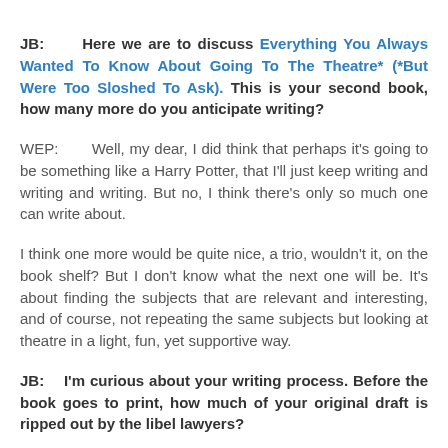JB: Here we are to discuss Everything You Always Wanted To Know About Going To The Theatre* (*But Were Too Sloshed To Ask). This is your second book, how many more do you anticipate writing?
WEP: Well, my dear, I did think that perhaps it's going to be something like a Harry Potter, that I'll just keep writing and writing and writing. But no, I think there's only so much one can write about.
I think one more would be quite nice, a trio, wouldn't it, on the book shelf? But I don't know what the next one will be. It's about finding the subjects that are relevant and interesting, and of course, not repeating the same subjects but looking at theatre in a light, fun, yet supportive way.
JB: I'm curious about your writing process. Before the book goes to print, how much of your original draft is ripped out by the libel lawyers?